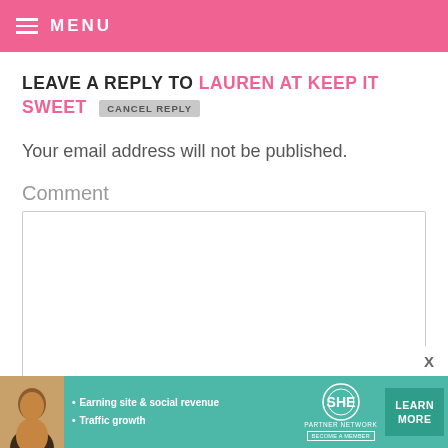MENU
LEAVE A REPLY TO LAUREN AT KEEP IT SWEET  CANCEL REPLY
Your email address will not be published.
Comment
[Figure (screenshot): Empty comment text area input box]
[Figure (infographic): SHE Partner Network advertisement banner: Earning site & social revenue, Traffic growth. LEARN MORE button.]